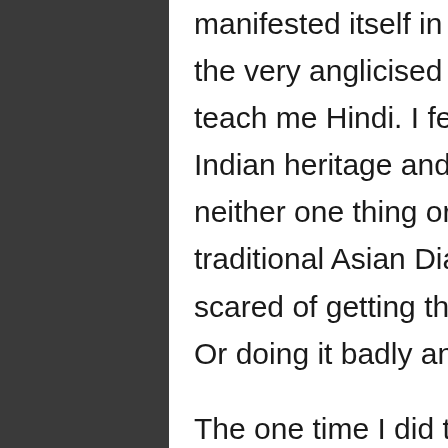manifested itself in several ways. They gave me the very anglicised nickname of Pippa and didn't teach me Hindi. I feel very divorced from my Indian heritage and this reflects in my writing. I am neither one thing or another. I fear writing more traditional Asian Diaspora characters as I am scared of getting this wrong and causing offense. Or doing it badly and reaping scorn.

The one time I did this was writing about an Indian man in a story called The Englishman. It's about my dad returning to India after over twenty